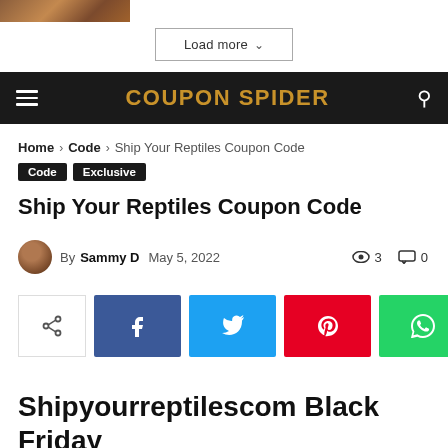[Figure (photo): Partial image of a wooden surface texture at top left]
Load more
COUPON SPIDER
Home › Code › Ship Your Reptiles Coupon Code
Code  Exclusive
Ship Your Reptiles Coupon Code
By Sammy D  May 5, 2022  👁 3  💬 0
[Figure (infographic): Social share buttons: share, Facebook, Twitter, Pinterest, WhatsApp]
Shipyourreptilescom Black Friday